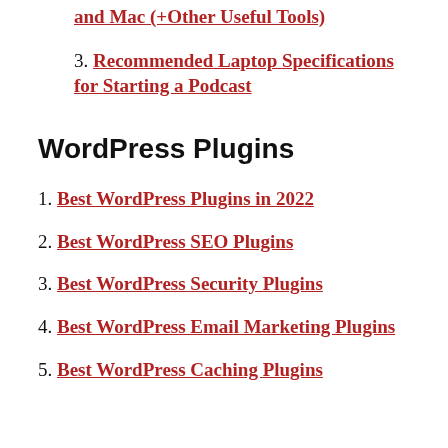and Mac (+Other Useful Tools)
3. Recommended Laptop Specifications for Starting a Podcast
WordPress Plugins
1. Best WordPress Plugins in 2022
2. Best WordPress SEO Plugins
3. Best WordPress Security Plugins
4. Best WordPress Email Marketing Plugins
5. Best WordPress Caching Plugins